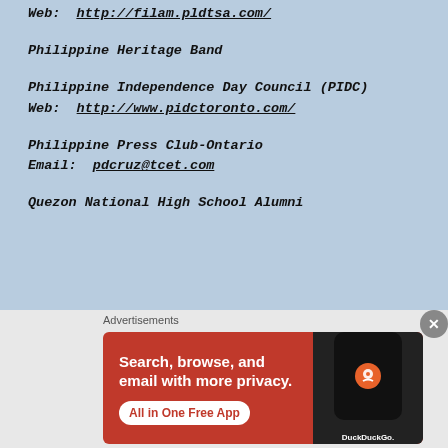Web: http://filam.pldtsa.com/
Philippine Heritage Band
Philippine Independence Day Council (PIDC)
Web: http://www.pidctoronto.com/
Philippine Press Club-Ontario
Email: pdcruz@tcet.com
Quezon National High School Alumni
[Figure (infographic): DuckDuckGo advertisement banner: orange background with text 'Search, browse, and email with more privacy. All in One Free App' and a phone graphic with DuckDuckGo logo]